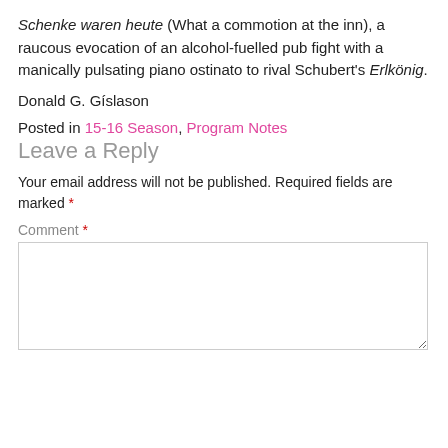Schenke waren heute (What a commotion at the inn), a raucous evocation of an alcohol-fuelled pub fight with a manically pulsating piano ostinato to rival Schubert's Erlkönig.
Donald G. Gíslason
Posted in 15-16 Season, Program Notes
Leave a Reply
Your email address will not be published. Required fields are marked *
Comment *